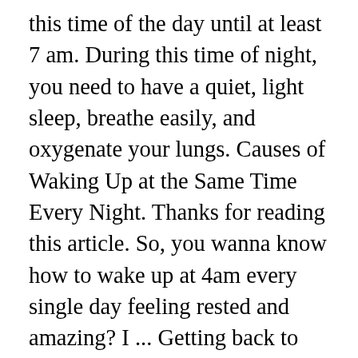this time of the day until at least 7 am. During this time of night, you need to have a quiet, light sleep, breathe easily, and oxygenate your lungs. Causes of Waking Up at the Same Time Every Night. Thanks for reading this article. So, you wanna know how to wake up at 4am every single day feeling rested and amazing? I ... Getting back to sleep is impossible. Marta Fernandez asks: If you wake up at 4am what should you do? Spiritual Meaning of Waking Up at 4 AM. I have started to feel like I am doing something that will truly change the world because I want my dream so bad. The purpose of this lifestyle is to compare your current self with your previous self. We included that time when calculating your result. In fact, it has